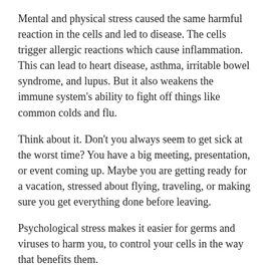Mental and physical stress caused the same harmful reaction in the cells and led to disease. The cells trigger allergic reactions which cause inflammation. This can lead to heart disease, asthma, irritable bowel syndrome, and lupus. But it also weakens the immune system's ability to fight off things like common colds and flu.
Think about it. Don't you always seem to get sick at the worst time? You have a big meeting, presentation, or event coming up. Maybe you are getting ready for a vacation, stressed about flying, traveling, or making sure you get everything done before leaving.
Psychological stress makes it easier for germs and viruses to harm you, to control your cells in the way that benefits them.
The Government is a Virus
Viruses take over a cell and use it to replicate themselves. They cannot reproduce on their own without infecting and taking over